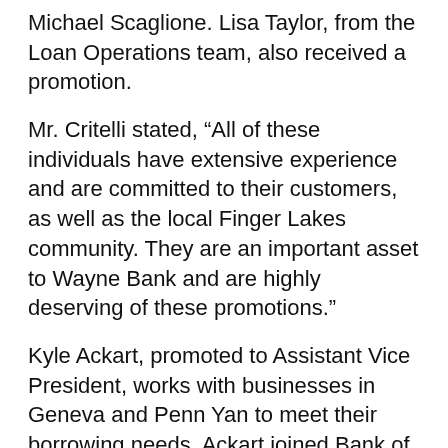Michael Scaglione. Lisa Taylor, from the Loan Operations team, also received a promotion.
Mr. Critelli stated, “All of these individuals have extensive experience and are committed to their customers, as well as the local Finger Lakes community. They are an important asset to Wayne Bank and are highly deserving of these promotions.”
Kyle Ackart, promoted to Assistant Vice President, works with businesses in Geneva and Penn Yan to meet their borrowing needs. Ackart joined Bank of the Finger Lakes in January of 2016. He holds a Bachelor’s degree from Keuka College and a MBA from St. John Fisher College. Ackart serves on the board of directors for the Geneva Family YMCA and resides in Rochester.
Josh Burden, promoted to Vice President, also works with local businesses to meet their